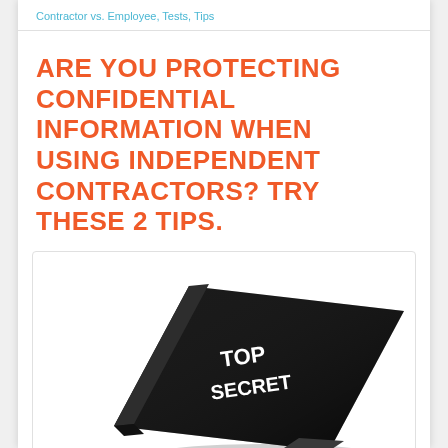Contractor vs. Employee, Tests, Tips
ARE YOU PROTECTING CONFIDENTIAL INFORMATION WHEN USING INDEPENDENT CONTRACTORS? TRY THESE 2 TIPS.
[Figure (photo): A black folder or booklet labeled 'TOP SECRET' in white bold text, shown at an angle against a white background inside a light-bordered container.]